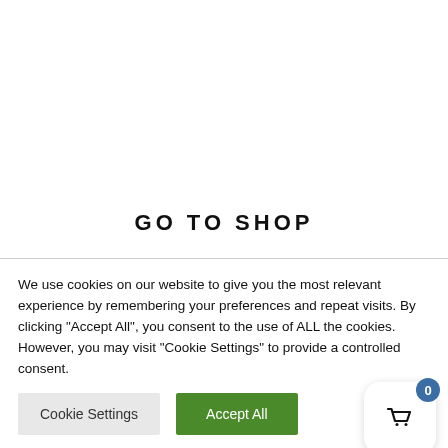GO TO SHOP
We use cookies on our website to give you the most relevant experience by remembering your preferences and repeat visits. By clicking “Accept All”, you consent to the use of ALL the cookies. However, you may visit “Cookie Settings” to provide a controlled consent.
Cookie Settings
Accept All